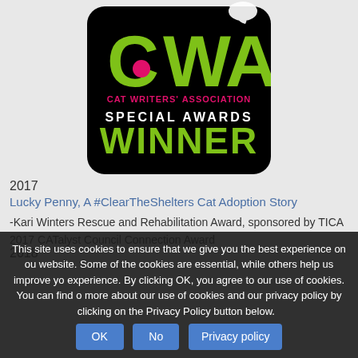[Figure (logo): Cat Writers' Association Special Awards Winner badge — black rounded rectangle with 'CWA' in green, cat silhouette, 'CAT WRITERS' ASSOCIATION' in pink, 'SPECIAL AWARDS' in white, 'WINNER' in green]
2017
Lucky Penny, A #ClearTheShelters Cat Adoption Story
-Kari Winters Rescue and Rehabilitation Award, sponsored by TICA
2017 CATalyst Council Connection Award
2018
This site uses cookies to ensure that we give you the best experience on our website. Some of the cookies are essential, while others help us improve your experience. By clicking OK, you agree to our use of cookies. You can find out more about our use of cookies and our privacy policy by clicking on the Privacy Policy button below.